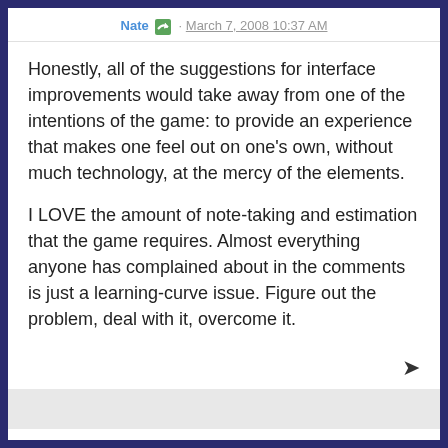Nate · March 7, 2008 10:37 AM
Honestly, all of the suggestions for interface improvements would take away from one of the intentions of the game: to provide an experience that makes one feel out on one's own, without much technology, at the mercy of the elements.
I LOVE the amount of note-taking and estimation that the game requires. Almost everything anyone has complained about in the comments is just a learning-curve issue. Figure out the problem, deal with it, overcome it.
Patrick · March 7, 2008 11:27 AM
The strategy I recommended involves going